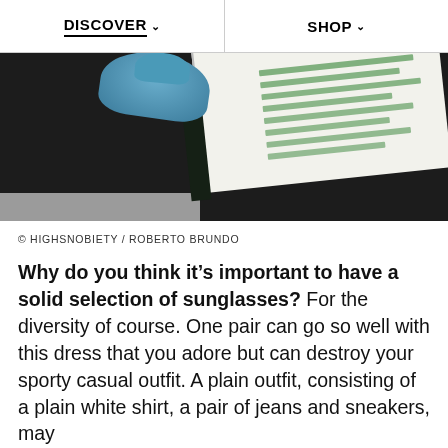DISCOVER   SHOP
[Figure (photo): Close-up photo of an open book/magazine with green text on white pages, resting on a dark surface, with a blue-gloved hand visible at top]
© HIGHSNOBIETY / ROBERTO BRUNDO
Why do you think it's important to have a solid selection of sunglasses? For the diversity of course. One pair can go so well with this dress that you adore but can destroy your sporty casual outfit. A plain outfit, consisting of a plain white shirt, a pair of jeans and sneakers, may